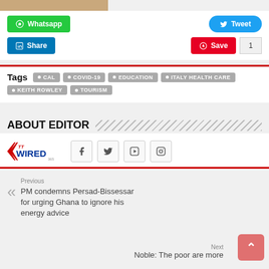[Figure (photo): Partial photo strip at top of page]
Whatsapp
Tweet
Share
Save 1
Tags   CAL   COVID-19   EDUCATION   ITALY HEALTH CARE   KEITH ROWLEY   TOURISM
ABOUT EDITOR
[Figure (logo): TT Wired logo with social media icons (Facebook, Twitter, YouTube, Instagram)]
Previous
PM condemns Persad-Bissessar for urging Ghana to ignore his energy advice
Next
Noble: The poor are more